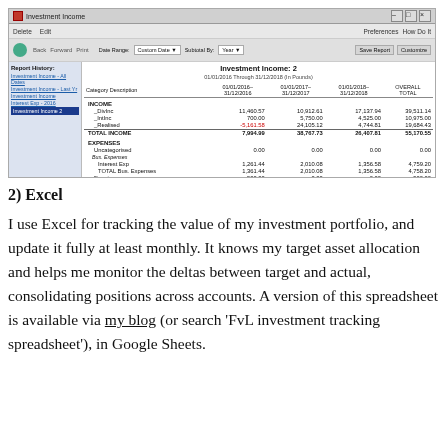[Figure (screenshot): Screenshot of Investment Income software report showing income and expenses data across multiple date ranges, with a sidebar listing report history links.]
2) Excel
I use Excel for tracking the value of my investment portfolio, and update it fully at least monthly. It knows my target asset allocation and helps me monitor the deltas between target and actual, consolidating positions across accounts. A version of this spreadsheet is available via my blog (or search ‘FvL investment tracking spreadsheet’), in Google Sheets.